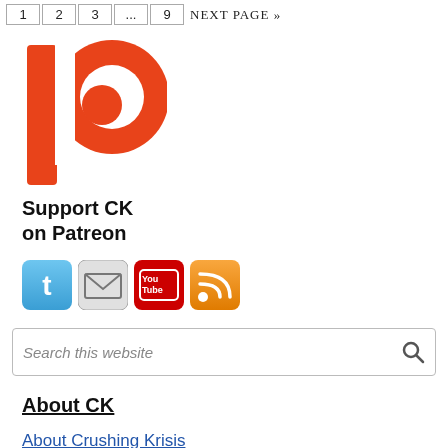1 2 3 ... 9 NEXT PAGE »
[Figure (logo): Patreon logo — orange stylized letter P]
Support CK on Patreon
[Figure (infographic): Social media icons: Twitter (blue bird), Email (envelope), YouTube (red), RSS (orange)]
Search this website
About CK
About Crushing Krisis
About My Music